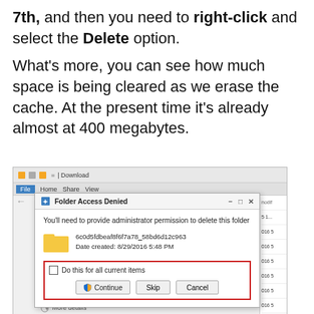7th, and then you need to right-click and select the Delete option.

What's more, you can see how much space is being cleared as we erase the cache. At the present time it's already  almost at 400 megabytes.
[Figure (screenshot): Windows Explorer window with 'Folder Access Denied' dialog box open. The dialog asks for administrator permission to delete a folder named '6c0d5fdbeaf8f6f7a78_58bd6d12c963' created 8/29/2016 5:48 PM. It shows a checkbox 'Do this for all current items' and buttons: Continue, Skip, Cancel. The checkbox area is highlighted with a red border. The Continue button has a shield icon.]